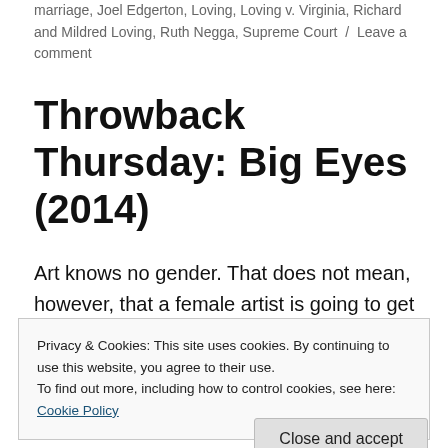marriage, Joel Edgerton, Loving, Loving v. Virginia, Richard and Mildred Loving, Ruth Negga, Supreme Court / Leave a comment
Throwback Thursday: Big Eyes (2014)
Art knows no gender. That does not mean, however, that a female artist is going to get the same respect/reception that her male
Privacy & Cookies: This site uses cookies. By continuing to use this website, you agree to their use.
To find out more, including how to control cookies, see here:
Cookie Policy
Close and accept
who was trying to get by via her art. She is soon